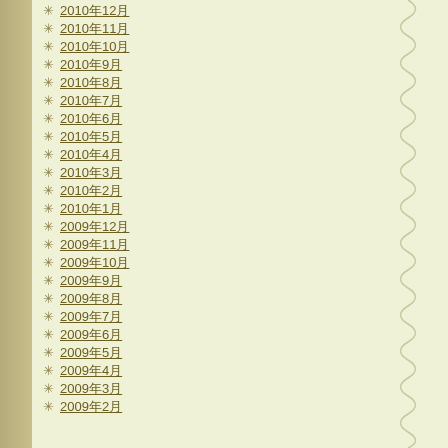2010年12月
2010年11月
2010年10月
2010年9月
2010年8月
2010年7月
2010年6月
2010年5月
2010年4月
2010年3月
2010年2月
2010年1月
2009年12月
2009年11月
2009年10月
2009年9月
2009年8月
2009年7月
2009年6月
2009年5月
2009年4月
2009年3月
2009年2月